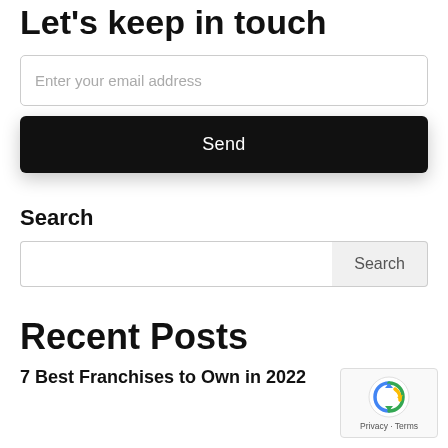Let's keep in touch
Enter your email address
Send
Search
Search
Recent Posts
7 Best Franchises to Own in 2022